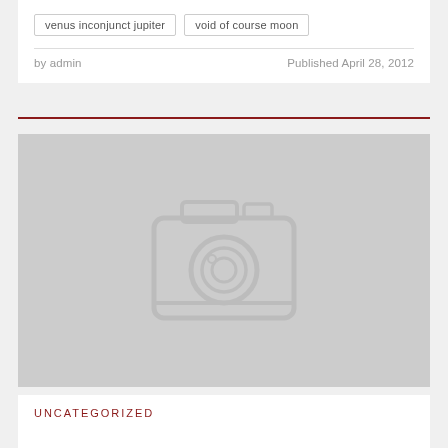venus inconjunct jupiter
void of course moon
by admin
Published April 28, 2012
[Figure (photo): Placeholder image with camera icon on grey background]
UNCATEGORIZED